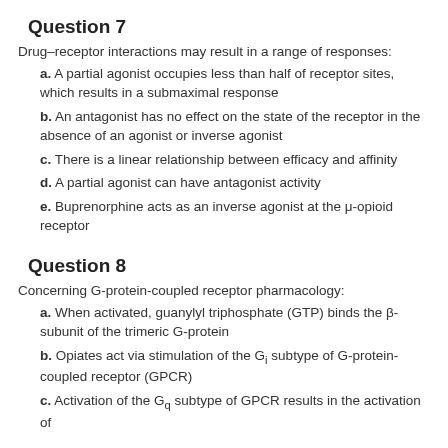Question 7
Drug–receptor interactions may result in a range of responses:
a. A partial agonist occupies less than half of receptor sites, which results in a submaximal response
b. An antagonist has no effect on the state of the receptor in the absence of an agonist or inverse agonist
c. There is a linear relationship between efficacy and affinity
d. A partial agonist can have antagonist activity
e. Buprenorphine acts as an inverse agonist at the μ-opioid receptor
Question 8
Concerning G-protein-coupled receptor pharmacology:
a. When activated, guanylyl triphosphate (GTP) binds the β-subunit of the trimeric G-protein
b. Opiates act via stimulation of the Gi subtype of G-protein-coupled receptor (GPCR)
c. Activation of the Gq subtype of GPCR results in the activation of